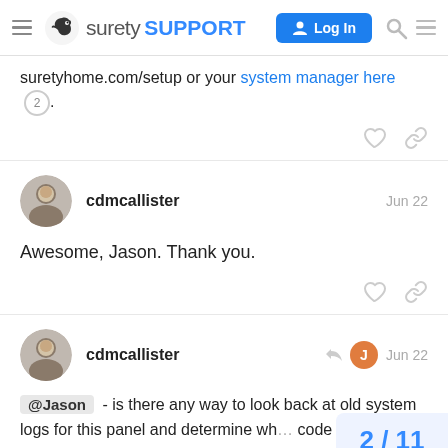surety SUPPORT | Log In
suretyhome.com/setup or your system manager here 2.
cdmcallister    Jun 22
Awesome, Jason. Thank you.
cdmcallister    Jun 22
@Jason - is there any way to look back at old system logs for this panel and determine wh... code is for this panel? This was previo... of 13. P... 2/11